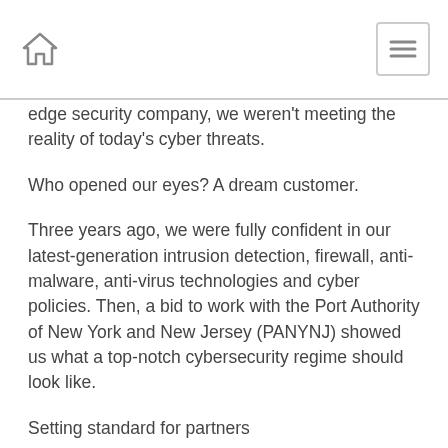home icon | menu icon
edge security company, we weren't meeting the reality of today's cyber threats.
Who opened our eyes? A dream customer.
Three years ago, we were fully confident in our latest-generation intrusion detection, firewall, anti-malware, anti-virus technologies and cyber policies. Then, a bid to work with the Port Authority of New York and New Jersey (PANYNJ) showed us what a top-notch cybersecurity regime should look like.
Setting standard for partners
Our customer knew they couldn't be secure unless we were secure.
So, before we could even see their RFP documents,